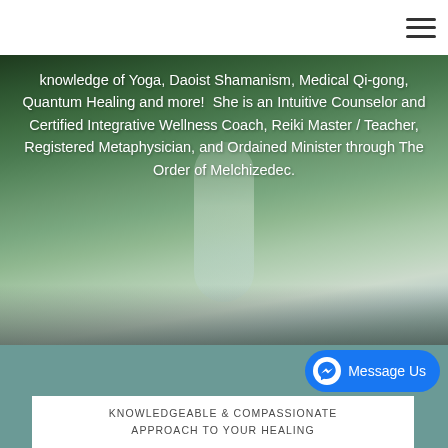Navigation bar with hamburger menu
knowledge of Yoga, Daoist Shamanism, Medical Qi-gong, Quantum Healing and more!  She is an Intuitive Counselor and Certified Integrative Wellness Coach, Reiki Master / Teacher, Registered Metaphysician, and Ordained Minister through The Order of Melchizedec.
[Figure (photo): Waterfall and forest background image with teal/green nature scene]
Message Us
KNOWLEDGEABLE & COMPASSIONATE APPROACH TO YOUR HEALING